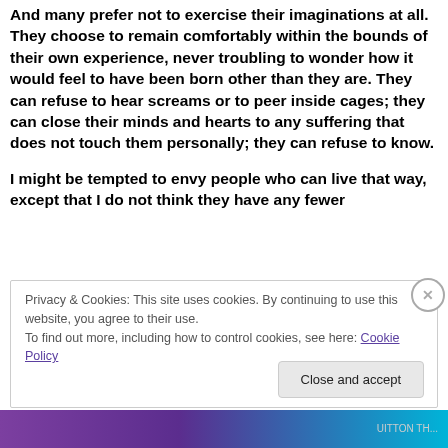And many prefer not to exercise their imaginations at all. They choose to remain comfortably within the bounds of their own experience, never troubling to wonder how it would feel to have been born other than they are. They can refuse to hear screams or to peer inside cages; they can close their minds and hearts to any suffering that does not touch them personally; they can refuse to know.
I might be tempted to envy people who can live that way, except that I do not think they have any fewer
Privacy & Cookies: This site uses cookies. By continuing to use this website, you agree to their use.
To find out more, including how to control cookies, see here: Cookie Policy
Close and accept